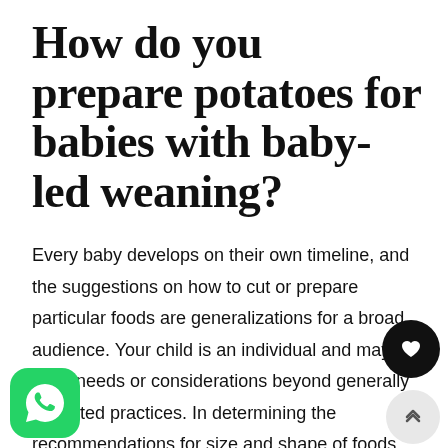How do you prepare potatoes for babies with baby-led weaning?
Every baby develops on their own timeline, and the suggestions on how to cut or prepare particular foods are generalizations for a broad audience. Your child is an individual and may have needs or considerations beyond generally accepted practices. In determining the recommendations for size and shape of foods, we use the best available scientific information regarding g fine, and oral motor development to minimize choking. The preparation suggestions we offer are for national purposes only and are not a substitute for